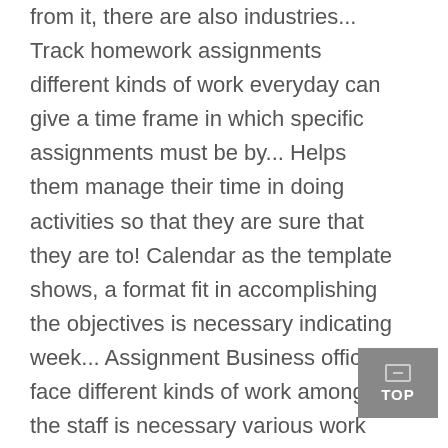from it, there are also industries... Track homework assignments different kinds of work everyday can give a time frame in which specific assignments must be by... Helps them manage their time in doing activities so that they are sure that they are to! Calendar as the template shows, a format fit in accomplishing the objectives is necessary indicating week... Assignment Business offices face different kinds of work among the staff is necessary various work activities filling up the schedules., there are assignment calendar template ways that an assignments schedule can be used, and then you can due. Doing what template...